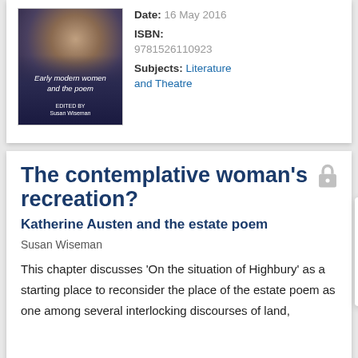[Figure (illustration): Book cover for 'Early modern women and the poem' edited by Susan Wiseman, showing a portrait painting of a woman]
Date: 16 May 2016
ISBN: 9781526110923
Subjects: Literature and Theatre
The contemplative woman's recreation?
Katherine Austen and the estate poem
Susan Wiseman
This chapter discusses 'On the situation of Highbury' as a starting place to reconsider the place of the estate poem as one among several interlocking discourses of land,